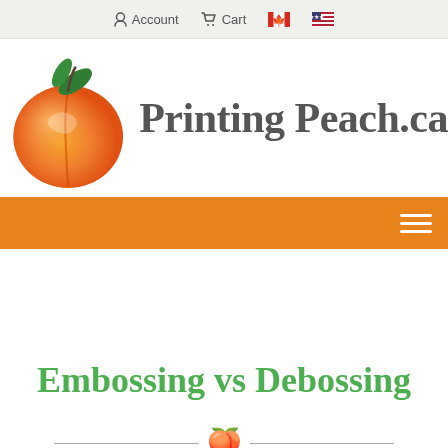Account  Cart
[Figure (logo): PrintingPeach.ca logo with peach fruit illustration and site name text]
[Figure (other): Orange navigation bar with hamburger menu icon]
Embossing vs Debossing
[Figure (illustration): Horizontal divider line with small peach emoji in the center]